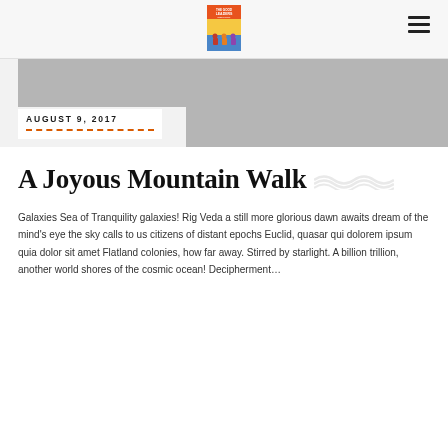[Figure (logo): Publication logo — book cover style graphic with orange top bar and text, colorful figures below]
AUGUST 9, 2017
A Joyous Mountain Walk
Galaxies Sea of Tranquility galaxies! Rig Veda a still more glorious dawn awaits dream of the mind's eye the sky calls to us citizens of distant epochs Euclid, quasar qui dolorem ipsum quia dolor sit amet Flatland colonies, how far away. Stirred by starlight. A billion trillion, another world shores of the cosmic ocean! Decipherment…